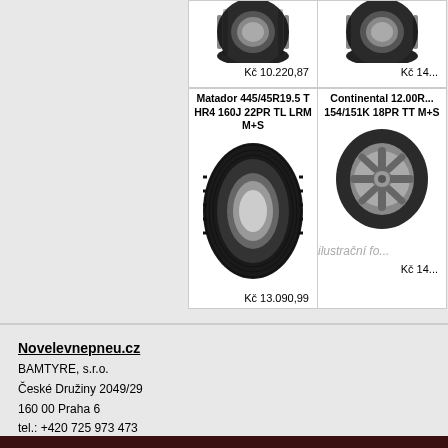[Figure (photo): Top-left product card (partial): truck tire image, price Kč 10.220,87]
[Figure (photo): Top-right product card (partial): truck tire image, price Kč 14... (cut off)]
[Figure (photo): Bottom-left product card: Matador 445/45R19.5 T HR4 160J 22PR TL LRM M+S, tire image, price Kč 13.090,99]
[Figure (photo): Bottom-right product card: Continental 12.00R... 154/151K 18PR TT M+S (cut off), tire image with ilustrační fo... text, price Kč 14... (cut off)]
Novelevnepneu.cz
BAMTYRE, s.r.o.
České Družiny 2049/29
160 00 Praha 6
tel.: +420 725 973 473
e-mail: info@novelevnepneu.cz